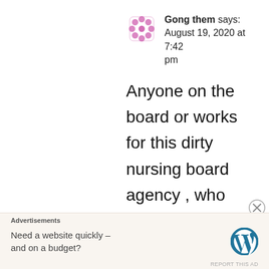Gong them says: August 19, 2020 at 7:42 pm
Anyone on the board or works for this dirty nursing board agency , who thinks for one minute that the legal beagles Campbell , Mamaluy , Krishna , Harris, are going to save their butts , their bank rolls from
Advertisements
Need a website quickly – and on a budget?